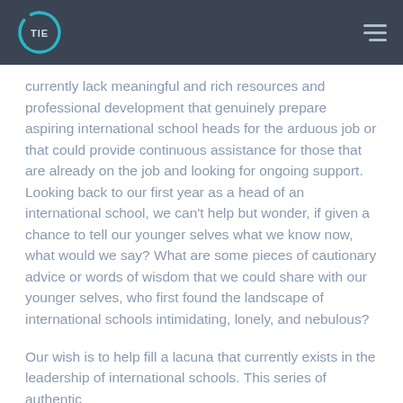TIE logo and navigation header
currently lack meaningful and rich resources and professional development that genuinely prepare aspiring international school heads for the arduous job or that could provide continuous assistance for those that are already on the job and looking for ongoing support. Looking back to our first year as a head of an international school, we can’t help but wonder, if given a chance to tell our younger selves what we know now, what would we say? What are some pieces of cautionary advice or words of wisdom that we could share with our younger selves, who first found the landscape of international schools intimidating, lonely, and nebulous?
Our wish is to help fill a lacuna that currently exists in the leadership of international schools. This series of authentic